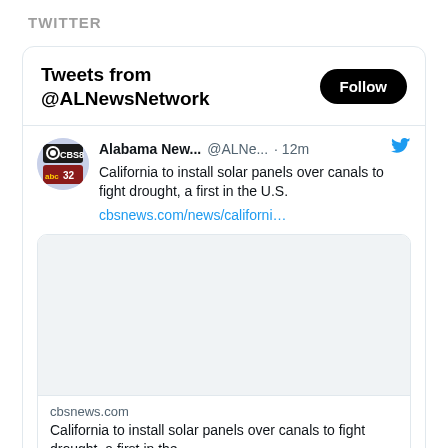TWITTER
Tweets from @ALNewsNetwork
Alabama New... @ALNe... · 12m
California to install solar panels over canals to fight drought, a first in the U.S.
cbsnews.com/news/californi...
[Figure (screenshot): Blank image area inside tweet link card]
cbsnews.com
California to install solar panels over canals to fight drought, a first in the ...